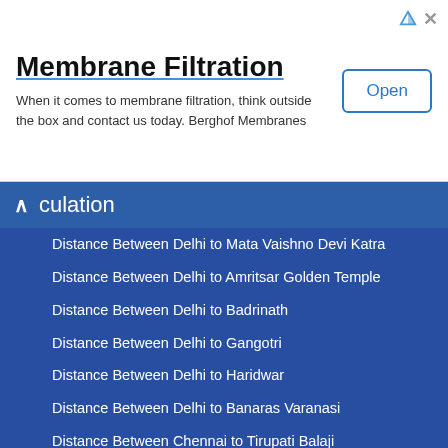[Figure (other): Advertisement banner for Berghof Membranes membrane filtration products with Open button]
culation
Distance Between Delhi to Mata Vaishno Devi Katra
Distance Between Delhi to Amritsar Golden Temple
Distance Between Delhi to Badrinath
Distance Between Delhi to Gangotri
Distance Between Delhi to Haridwar
Distance Between Delhi to Banaras Varanasi
Distance Between Chennai to Tirupati Balaji
Distance Between Delhi to Shikhar Ji Parasnath Giridih
Distance Between Delhi to Girnar Ji Junagadh
Distance Between Delhi to Mount Kailash Dharchula)
Distance Between Delhi to Champapur
Distance Between Mumbai to Shirdi Pune